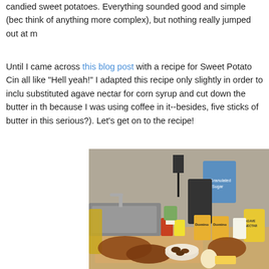candied sweet potatoes. Everything sounded good and simple (bec... think of anything more complex), but nothing really jumped out at m...
Until I came across this blog post with a recipe for Sweet Potato Cin... all like "Hell yeah!" I adapted this recipe only slightly in order to inclu... substituted agave nectar for corn syrup and cut down the butter in th... because I was using coffee in it--besides, five sticks of butter in this... serious?). Let's get on to the recipe!
[Figure (photo): A kitchen countertop with various baking and cooking ingredients laid out including sweet potatoes, eggs, Domino sugar boxes, agave nectar, and other pantry items near a sink.]